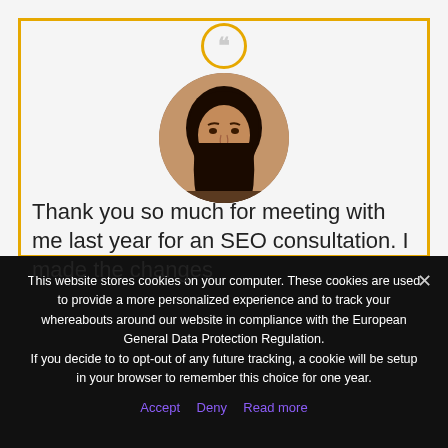[Figure (photo): Circular profile photo of a woman with dark hair, smiling]
Thank you so much for meeting with me last year for an SEO consultation. I made the changes
This website stores cookies on your computer. These cookies are used to provide a more personalized experience and to track your whereabouts around our website in compliance with the European General Data Protection Regulation.
If you decide to to opt-out of any future tracking, a cookie will be setup in your browser to remember this choice for one year.
Accept  Deny  Read more